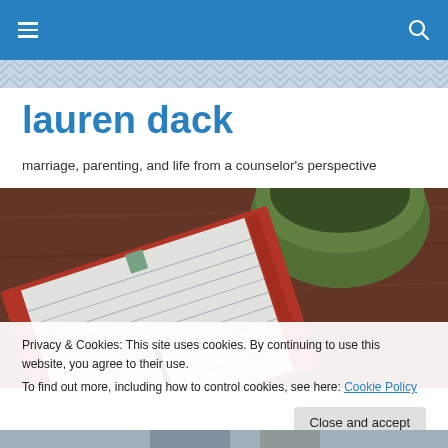lauren dack — site navigation header with hamburger menu and search icon
lauren dack
marriage, parenting, and life from a counselor's perspective
[Figure (photo): Top-down photo of an open red notebook with lined pages and a pen, alongside a green bowl/cup on a wooden table]
Privacy & Cookies: This site uses cookies. By continuing to use this website, you agree to their use.
To find out more, including how to control cookies, see here: Cookie Policy
[Figure (photo): Partial photo at bottom showing people or figures, cropped]